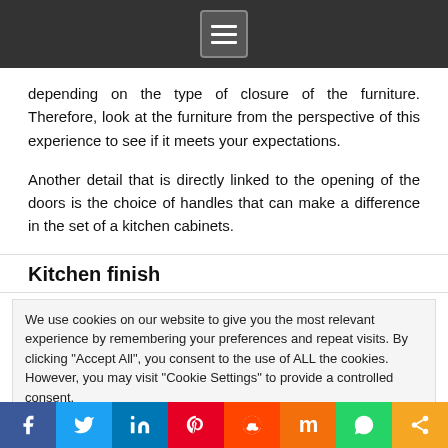[Navigation menu icon]
depending on the type of closure of the furniture. Therefore, look at the furniture from the perspective of this experience to see if it meets your expectations.
Another detail that is directly linked to the opening of the doors is the choice of handles that can make a difference in the set of a kitchen cabinets.
Kitchen finish
We use cookies on our website to give you the most relevant experience by remembering your preferences and repeat visits. By clicking "Accept All", you consent to the use of ALL the cookies. However, you may visit "Cookie Settings" to provide a controlled consent.
Social sharing bar: Facebook, Twitter, LinkedIn, Pinterest, Reddit, Mix, WhatsApp, Share